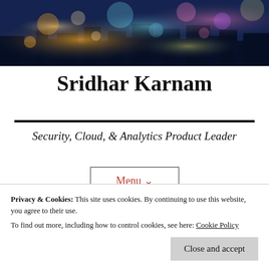[Figure (photo): Blurred bokeh city skyline at night with colorful lights, blue and purple tones]
Sridhar Karnam
Security, Cloud, & Analytics Product Leader
Menu ∨
Privacy & Cookies: This site uses cookies. By continuing to use this website, you agree to their use.
To find out more, including how to control cookies, see here: Cookie Policy
Close and accept